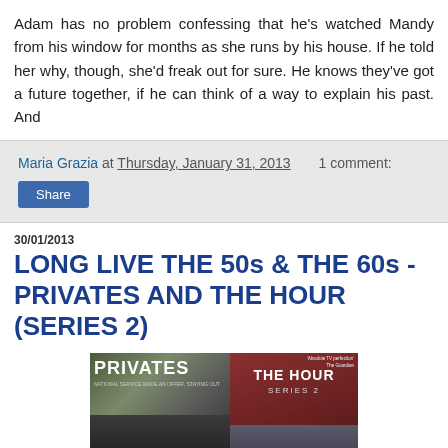Adam has no problem confessing that he's watched Mandy from his window for months as she runs by his house. If he told her why, though, she'd freak out for sure. He knows they've got a future together, if he can think of a way to explain his past. And
Maria Grazia at Thursday, January 31, 2013   1 comment:
Share
30/01/2013
LONG LIVE THE 50s & THE 60s - PRIVATES AND THE HOUR (SERIES 2)
[Figure (photo): DVD/promotional image showing two TV show covers side by side: 'Privates' on the left with dark background and group of men, and 'The Hour Series 2' on the right with dark red background and actors]